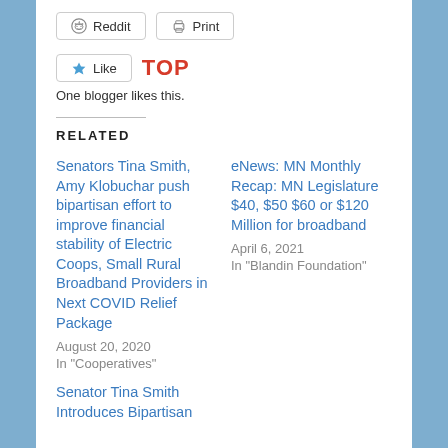[Figure (other): Reddit and Print share buttons]
[Figure (other): Like button and TOP label with 'One blogger likes this.' text]
One blogger likes this.
RELATED
Senators Tina Smith, Amy Klobuchar push bipartisan effort to improve financial stability of Electric Coops, Small Rural Broadband Providers in Next COVID Relief Package
August 20, 2020
In "Cooperatives"
eNews: MN Monthly Recap: MN Legislature $40, $50 $60 or $120 Million for broadband
April 6, 2021
In "Blandin Foundation"
Senator Tina Smith Introduces Bipartisan